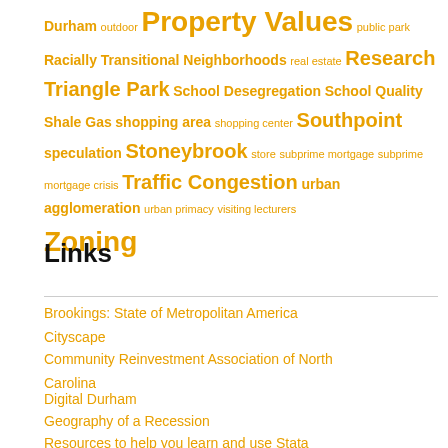Durham outdoor Property Values public park Racially Transitional Neighborhoods real estate Research Triangle Park School Desegregation School Quality Shale Gas shopping area shopping center Southpoint speculation Stoneybrook store subprime mortgage subprime mortgage crisis Traffic Congestion urban agglomeration urban primacy visiting lecturers Zoning
Links
Brookings: State of Metropolitan America
Cityscape
Community Reinvestment Association of North Carolina
Digital Durham
Geography of a Recession
Resources to help you learn and use Stata